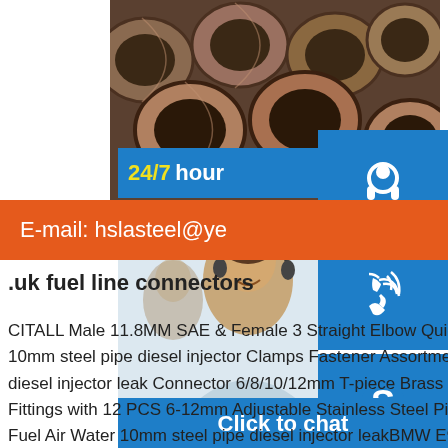[Figure (photo): Stack of large diameter steel pipes viewed from one end, showing circular cross-sections]
E-mail: hslasteel@ye
[Figure (photo): Customer service agent (woman smiling, wearing headset) with 24/7 hour overlay and Skype/phone/headset icons, Click to chat button]
.uk fuel line connectors
CITALL Male 11.8MM SAE & Female 3 Straight Elbow Quick Release Connector Hose. 10mm steel pipe diesel injector Clamps Fastener Assortment Kit for Di 10mm steel pipe diesel injector leak Connector 6/8/10/12mm T-piece Brass Joiner Adapter Quick Release Fittings with 12 PCS 6-12mm Adjustable Stainless Steel Pipe Clamps Hose Clips for Fuel Air Water 10mm steel pipe diesel injector leakBMW E90 Fuel Injector Replacement E91, E92, E93 10mm steel pipe